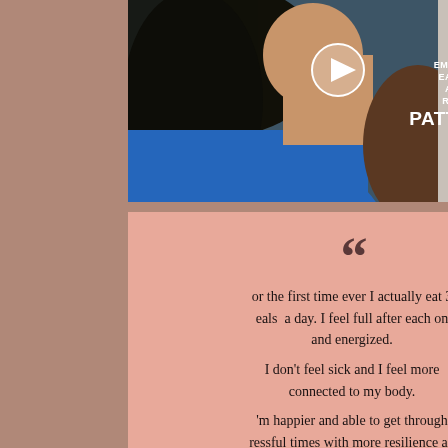[Figure (photo): Video thumbnail of a woman with long dark hair wearing a blue top, with overlaid text reading 'EMOTIONAL EATING IS A DEEP ROOTED PATTERN...' and a play button]
““ For the first time ever I actually eat 3 meals a day. I feel full after each one and energized. I don't feel sick and I feel more connected to my body. I'm happier and able to get through stressful times with more resilience and grace. I'm no longer eating emotionally, I fe...